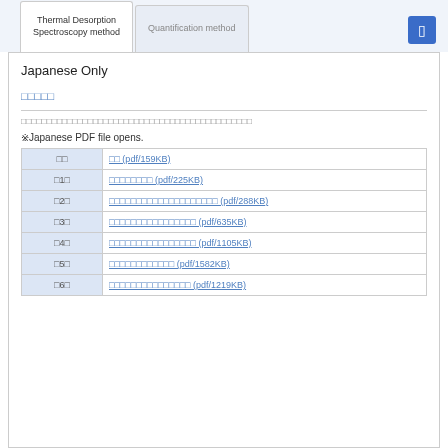Thermal Desorption Spectroscopy method | Quantification method
Japanese Only
□□□□□
□□□□□□□□□□□□□□□□□□□□□□□□□□□□□□□□□□□□□□□□□□□□□
※Japanese PDF file opens.
| Section | Link |
| --- | --- |
| □□ | □□ (pdf/159KB) |
| □1□ | □□□□□□□□ (pdf/225KB) |
| □2□ | □□□□□□□□□□□□□□□□□□□□ (pdf/288KB) |
| □3□ | □□□□□□□□□□□□□□□□ (pdf/635KB) |
| □4□ | □□□□□□□□□□□□□□□□ (pdf/1105KB) |
| □5□ | □□□□□□□□□□□□ (pdf/1582KB) |
| □6□ | □□□□□□□□□□□□□□□ (pdf/1219KB) |